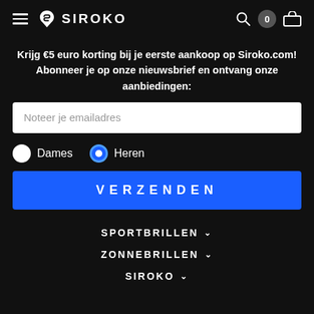SIROKO
Krijg €5 euro korting bij je eerste aankoop op Siroko.com! Abonneer je op onze nieuwsbrief en ontvang onze aanbiedingen:
Noteer je emailadres
Dames  Heren
VERZENDEN
SPORTBRILLEN
ZONNEBRILLEN
SIROKO